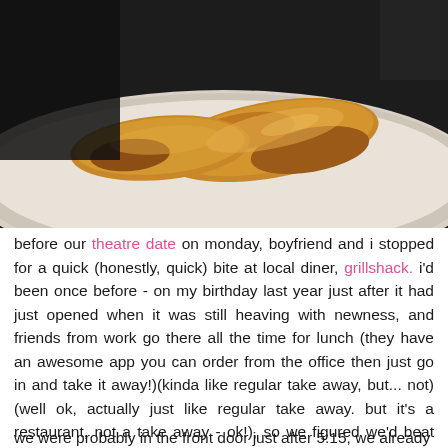[Figure (photo): A photo of roasted/grilled chicken pieces on a white plate with a dark border, against a dark background.]
before our theatre date on monday, boyfriend and i stopped for a quick (honestly, quick) bite at local diner, grillshack. i'd been once before - on my birthday last year just after it had just opened when it was still heaving with newness, and friends from work go there all the time for lunch (they have an awesome app you can order from the office then just go in and take it away!)(kinda like regular take away, but... not) (well ok, actually just like regular take away. but it's a restaurant, not a take away - ok!), so we figured we'd beat the crowds and head straight over after work. plus, i can literally see the restaurant from my window at work, so no fussing about with directions either. winner winner chicken dinner (literally)!
we were probably in the front door just after 5:15, we already